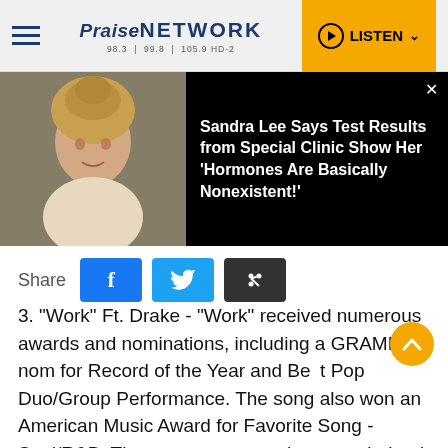Praise NETWORK 98.3 | 99.8 | 105.9 HD-2 | LISTEN
[Figure (photo): Profile photo of a blonde woman with hair up, wearing a light top, against an outdoor background. Overlaid with a dark box containing text: Sandra Lee Says Test Results from Special Clinic Show Her 'Hormones Are Basically Nonexistent!']
Share
3. "Work" Ft. Drake - "Work" received numerous awards and nominations, including a GRAMMY nom for Record of the Year and Best Pop Duo/Group Performance. The song also won an American Music Award for Favorite Song - Soul/R&B. The song was not only a smash, but it featured then rumored boyfriend Drake, which heightened its appeal.